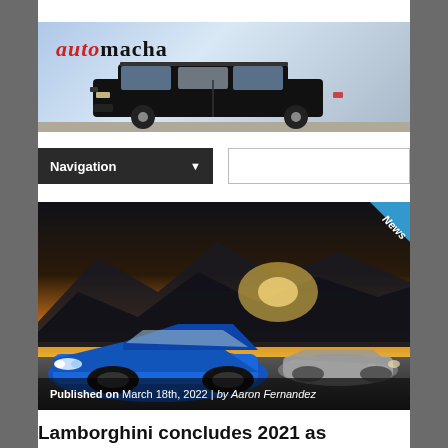[Figure (screenshot): Automacha website header with logo showing 'automacha' text in red/black and a black classic SUV/wagon car on a light blue background]
[Figure (screenshot): Navigation bar (dark) with 'Navigation' and dropdown arrow, plus a search box to the right]
[Figure (photo): Two blue Lamborghini sports cars on a road at sunset with mountains in background. News badge in top-right corner. Published on March 18th, 2022 | by Aaron Fernandez]
Lamborghini concludes 2021 as